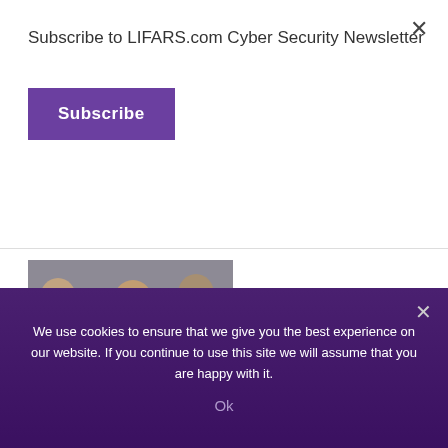Subscribe to LIFARS.com Cyber Security Newsletter
Subscribe
[Figure (photo): Three people sitting together looking at their mobile phones]
Mobile Security Issues Affecting Organizations
In "CISO as a Service"
Share this:
We use cookies to ensure that we give you the best experience on our website. If you continue to use this site we will assume that you are happy with it.
Ok